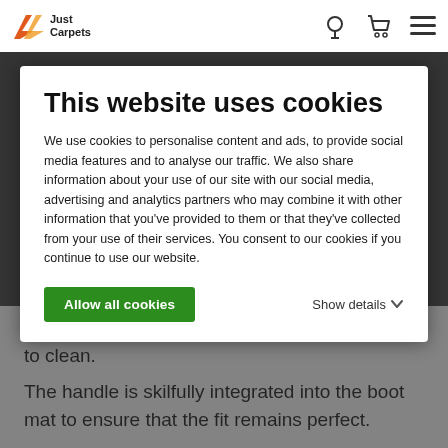[Figure (logo): Just Carpets logo with orange/red arrow graphic and company name]
This website uses cookies
We use cookies to personalise content and ads, to provide social media features and to analyse our traffic. We also share information about your use of our site with our social media, advertising and analytics partners who may combine it with other information that you've provided to them or that they've collected from your use of their services. You consent to our cookies if you continue to use our website.
Allow all cookies
Show details
from your boot. This makes the boot mat easy to clean.
The handle is skilfully integrated into the boot mat to ensure that the fit remains perfect.